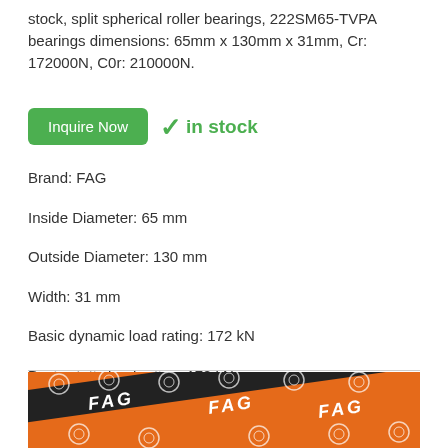stock, split spherical roller bearings, 222SM65-TVPA bearings dimensions: 65mm x 130mm x 31mm, Cr: 172000N, C0r: 210000N.
✓ in stock
Brand: FAG
Inside Diameter: 65 mm
Outside Diameter: 130 mm
Width: 31 mm
Basic dynamic load rating: 172 kN
Basic static load rating: 172 kN
[Figure (photo): Photo of FAG branded orange packaging box with circular bearing logos and diagonal black stripe pattern]